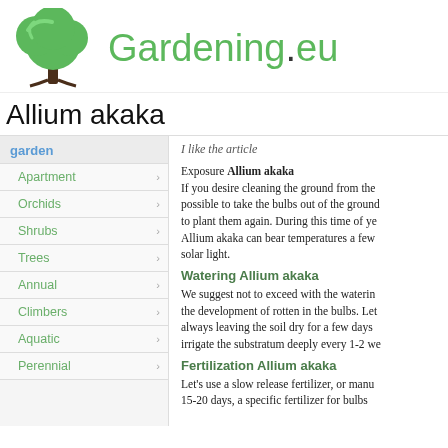[Figure (logo): Green tree logo for Gardening.eu website]
Allium akaka
garden
Apartment
Orchids
Shrubs
Trees
Annual
Climbers
Aquatic
Perennial
I like the article
Exposure Allium akaka
If you desire cleaning the ground from the possible to take the bulbs out of the ground to plant them again. During this time of ye Allium akaka can bear temperatures a few solar light.
Watering Allium akaka
We suggest not to exceed with the watering the development of rotten in the bulbs. Let always leaving the soil dry for a few days irrigate the substratum deeply every 1-2 we
Fertilization Allium akaka
Let's use a slow release fertilizer, or manu 15-20 days, a specific fertilizer for bulbs